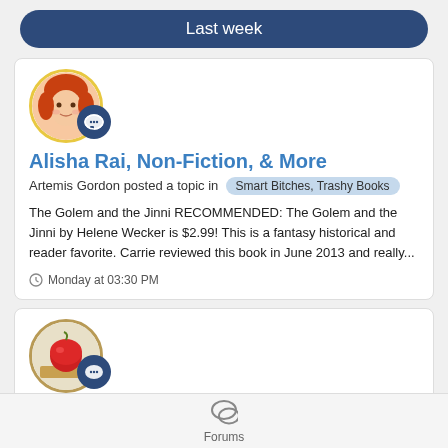Last week
Alisha Rai, Non-Fiction, & More
Artemis Gordon posted a topic in Smart Bitches, Trashy Books
The Golem and the Jinni RECOMMENDED: The Golem and the Jinni by Helene Wecker is $2.99! This is a fantasy historical and reader favorite. Carrie reviewed this book in June 2013 and really...
Monday at 03:30 PM
A Change is as good as a Severed Head – GUEST POST by Ed McDonald
Forums